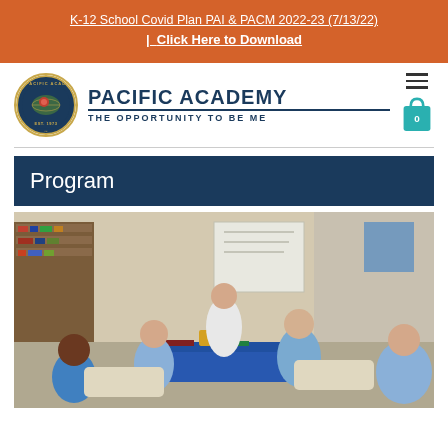K-12 School Covid Plan PAI & PACM 2022-23 (7/13/22) | Click Here to Download
[Figure (logo): Pacific Academy circular school seal logo with globe and bird emblem]
PACIFIC ACADEMY THE OPPORTUNITY TO BE ME
Program
[Figure (photo): Students in school uniforms (light blue polo shirts) sitting in a circle around a low blue table covered with books and notebooks in a classroom library setting, with a teacher standing among them]